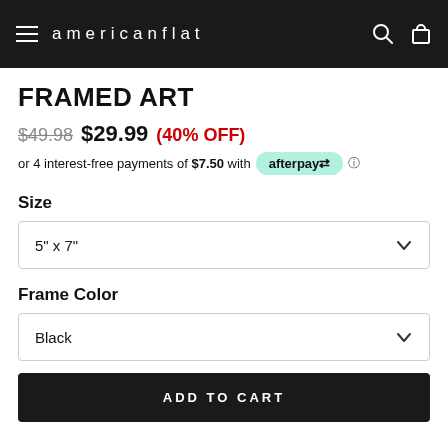americanflat
FRAMED ART
$49.98  $29.99  (40% OFF)
or 4 interest-free payments of $7.50 with afterpay
Size
5" x 7"
Frame Color
Black
ADD TO CART